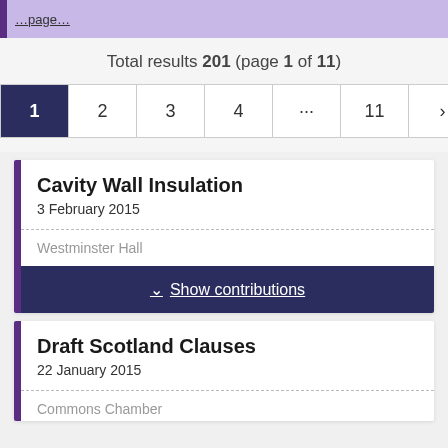…
Total results 201 (page 1 of 11)
Pagination: 1 2 3 4 … 11 › »
Cavity Wall Insulation
3 February 2015
Westminster Hall
Show contributions
Draft Scotland Clauses
22 January 2015
Commons Chamber